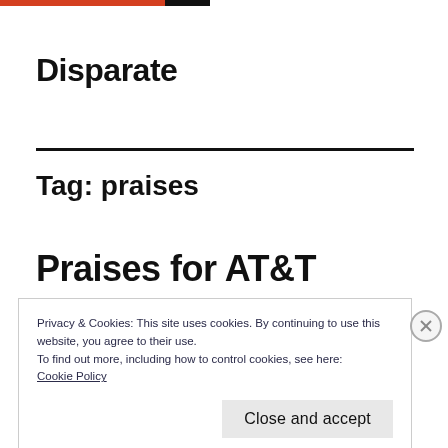Disparate
Tag: praises
Praises for AT&T
Privacy & Cookies: This site uses cookies. By continuing to use this website, you agree to their use.
To find out more, including how to control cookies, see here:
Cookie Policy
Close and accept